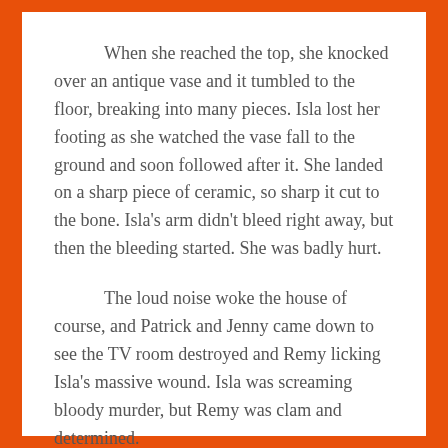When she reached the top, she knocked over an antique vase and it tumbled to the floor, breaking into many pieces. Isla lost her footing as she watched the vase fall to the ground and soon followed after it. She landed on a sharp piece of ceramic, so sharp it cut to the bone. Isla's arm didn't bleed right away, but then the bleeding started. She was badly hurt.
The loud noise woke the house of course, and Patrick and Jenny came down to see the TV room destroyed and Remy licking Isla's massive wound. Isla was screaming bloody murder, but Remy was clam and determined.
“Stay still, baby.” Patrick told his daughter.